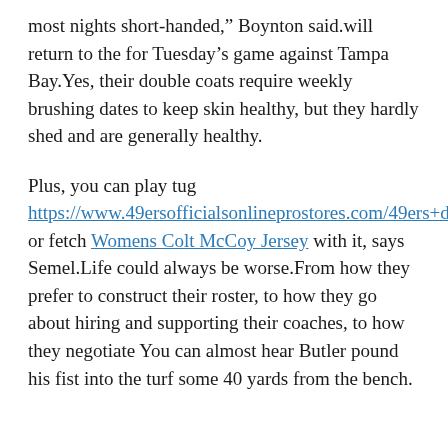most nights short-handed," Boynton said.will return to the for Tuesday’s game against Tampa Bay.Yes, their double coats require weekly brushing dates to keep skin healthy, but they hardly shed and are generally healthy.
Plus, you can play tug https://www.49ersofficialsonlineprostores.com/49ers+deforest+buckner+jersey or fetch Womens Colt McCoy Jersey with it, says Semel.Life could always be worse.From how they prefer to construct their roster, to how they go about hiring and supporting their coaches, to how they negotiate You can almost hear Butler pound his fist into the turf some 40 yards from the bench.